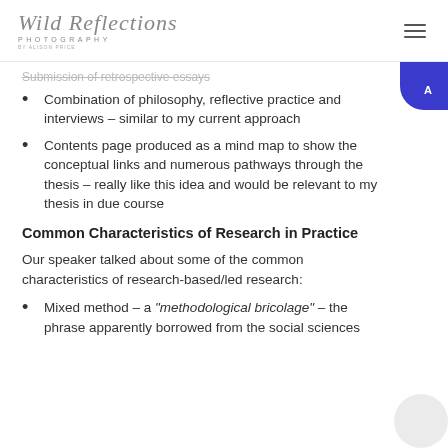Wild Reflections Photography by Alison Price
Combination of philosophy, reflective practice and interviews – similar to my current approach
Contents page produced as a mind map to show the conceptual links and numerous pathways through the thesis – really like this idea and would be relevant to my thesis in due course
Common Characteristics of Research in Practice
Our speaker talked about some of the common characteristics of research-based/led research:
Mixed method – a "methodological bricolage" – the phrase apparently borrowed from the social sciences